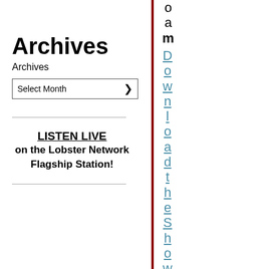Archives
Archives
Select Month
LISTEN LIVE
on the Lobster Network Flagship Station!
o
a
m
DownloadtheShowAudioHere